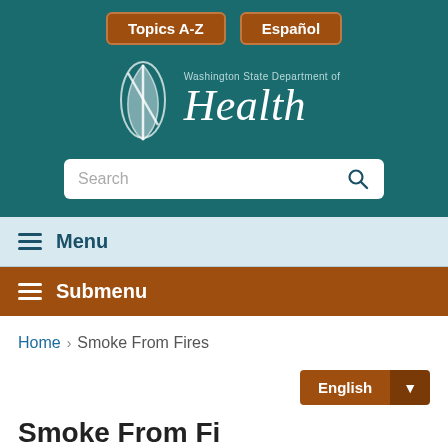[Figure (screenshot): Washington State Department of Health website header with teal background, Topics A-Z and Español buttons, department logo, and search bar]
Topics A-Z | Español
[Figure (logo): Washington State Department of Health logo with feather/leaf icon and italic Health text]
≡ Menu
≡ Submenu
Home > Smoke From Fires
English ▼
Smoke From Fi...